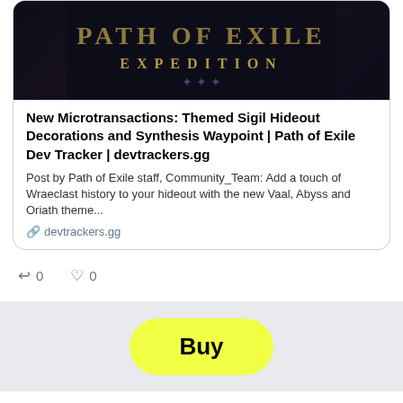[Figure (screenshot): Game banner image showing Path of Exile Expedition themed graphic with dark background]
New Microtransactions: Themed Sigil Hideout Decorations and Synthesis Waypoint | Path of Exile Dev Tracker | devtrackers.gg
Post by Path of Exile staff, Community_Team: Add a touch of Wraeclast history to your hideout with the new Vaal, Abyss and Oriath theme...
devtrackers.gg
0  0
[Figure (other): Yellow Buy button advertisement]
[Figure (photo): Profile photo of LesaRenee333 showing a woman with dark hair]
🌸🌸LesaRenee333🌸🌸
@LesaRenee333
Sometimes, I wake up in the middle of the night and cry for some unknown reason. Usually, it's to release the emotions